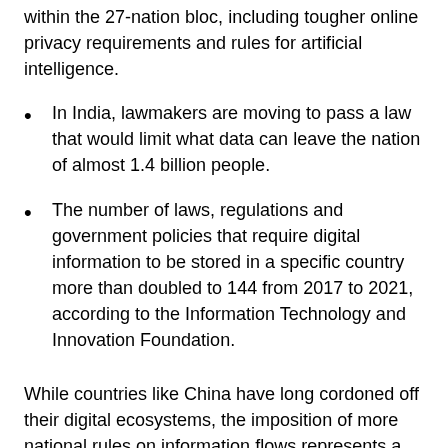within the 27-nation bloc, including tougher online privacy requirements and rules for artificial intelligence.
In India, lawmakers are moving to pass a law that would limit what data can leave the nation of almost 1.4 billion people.
The number of laws, regulations and government policies that require digital information to be stored in a specific country more than doubled to 144 from 2017 to 2021, according to the Information Technology and Innovation Foundation.
While countries like China have long cordoned off their digital ecosystems, the imposition of more national rules on information flows represents a fundamental shift in the broader world, and it raises the stakes even more